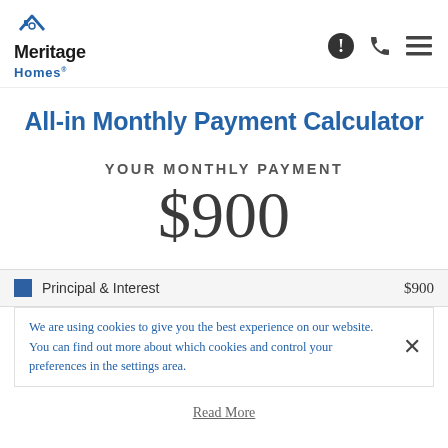[Figure (logo): Meritage Homes logo with house icon above the text]
All-in Monthly Payment Calculator
YOUR MONTHLY PAYMENT
$900
Principal & Interest   $900
We are using cookies to give you the best experience on our website. You can find out more about which cookies and control your preferences in the settings area.
Read More